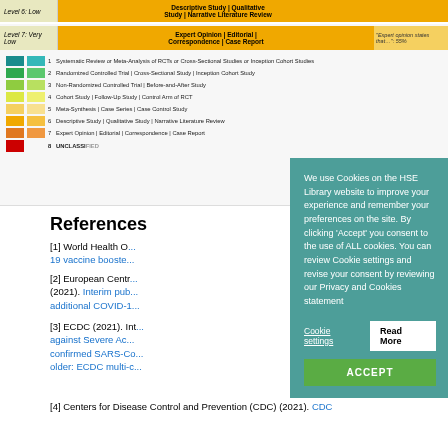[Figure (infographic): Evidence pyramid diagram showing levels 6 (Low) and 7 (Very Low) with study types, and a color-coded legend listing 8 levels of evidence from Systematic Review/Meta-Analysis down to UNCLASSIFIED]
References
[1] World Health O... 19 vaccine booste...
[2] European Centr... (2021). Interim pub... additional COVID-1...
[3] ECDC (2021). Int... against Severe Ac... confirmed SARS-C... older: ECDC multi-c...
[4] Centers for Disease Control and Prevention (CDC) (2021). CDC
We use Cookies on the HSE Library website to improve your experience and remember your preferences on the site. By clicking 'Accept' you consent to the use of ALL cookies. You can review Cookie settings and revise your consent by reviewing our Privacy and Cookies statement
Cookie settings | Read More | ACCEPT